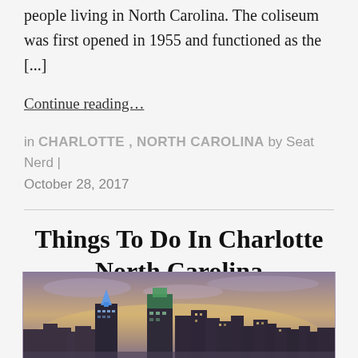people living in North Carolina. The coliseum was first opened in 1955 and functioned as the [...]
Continue reading…
in CHARLOTTE , NORTH CAROLINA by Seat Nerd | October 28, 2017
Things To Do In Charlotte North Carolina
[Figure (photo): Charlotte North Carolina city skyline at dusk/sunset with illuminated skyscrapers including a distinctive blue tower with triangular top]